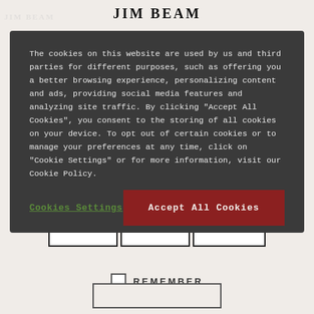[Figure (screenshot): Jim Beam website background showing logo at top and age verification date fields (MM, DD, YYYY) with a REMEMBER checkbox below]
The cookies on this website are used by us and third parties for different purposes, such as offering you a better browsing experience, personalizing content and ads, providing social media features and analyzing site traffic. By clicking "Accept All Cookies", you consent to the storing of all cookies on your device. To opt out of certain cookies or to manage your preferences at any time, click on "Cookie Settings" or for more information, visit our Cookie Policy.
Cookies Settings
Accept All Cookies